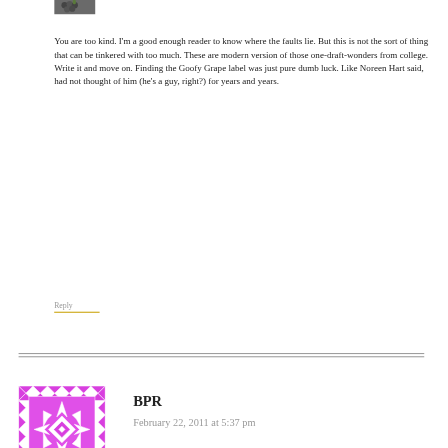[Figure (photo): Small thumbnail image of grapes at top left]
You are too kind. I'm a good enough reader to know where the faults lie. But this is not the sort of thing that can be tinkered with too much. These are modern version of those one-draft-wonders from college. Write it and move on. Finding the Goofy Grape label was just pure dumb luck. Like Noreen Hart said, had not thought of him (he's a guy, right?) for years and years.
Reply
[Figure (illustration): Magenta/purple pixel quilt pattern avatar for BPR]
BPR
February 22, 2011 at 5:37 pm